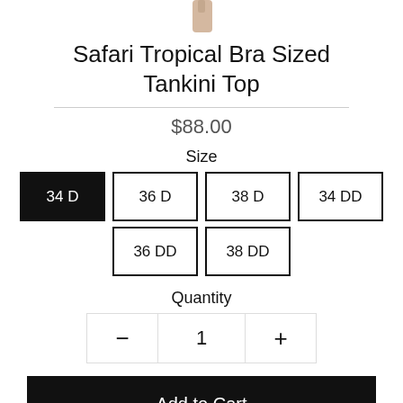[Figure (photo): Partial photo of a model wearing a swimsuit top, cropped at top of page]
Safari Tropical Bra Sized Tankini Top
$88.00
Size
34 D  36 D  38 D  34 DD  36 DD  38 DD
Quantity
− 1 +
Add to Cart